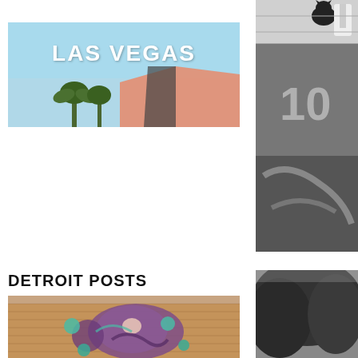[Figure (photo): Las Vegas sign with blue sky and palm trees, text 'LAS VEGAS' in white]
[Figure (photo): Black and white photo of a weathered wooden structure with graffiti numbers and markings, and a cat at the top]
DETROIT POSTS
[Figure (photo): Colorful graffiti mural on a brick building wall]
[Figure (photo): Black and white photo with dark trees/foliage]